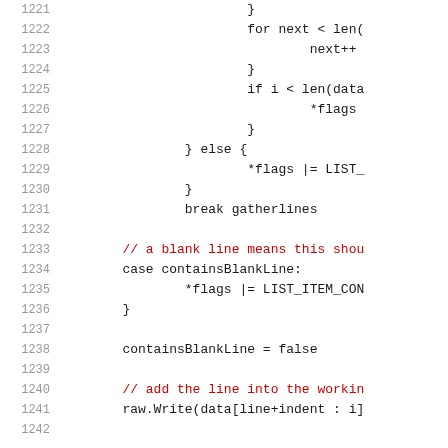Source code listing, lines 1221-1242, showing Go/C-style code with loop constructs, flag operations, and comments.